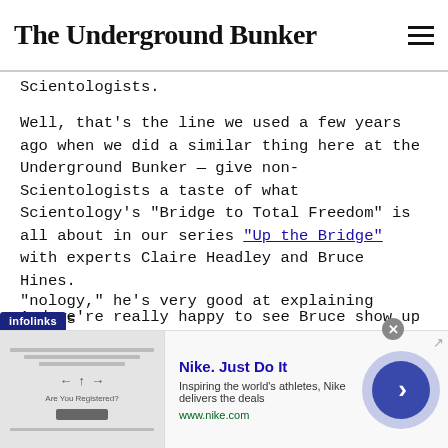The Underground Bunker
Scientologists.
Well, that’s the line we used a few years ago when we did a similar thing here at the Underground Bunker — give non-Scientologists a taste of what Scientology’s “Bridge to Total Freedom” is all about in our series “Up the Bridge” with experts Claire Headley and Bruce Hines.
And we’re really happy to see Bruce show up in this episode. He’s not only someone who taught other Scientologists L. Ron Hubbard’s “technology,” he’s very good at explaining things
[Figure (other): Advertisement banner: infolinks label, Nike Just Do It ad with image placeholder, text 'Inspiring the world’s athletes, Nike delivers the deals', URL www.nike.com, close button, and arrow circle navigation button]